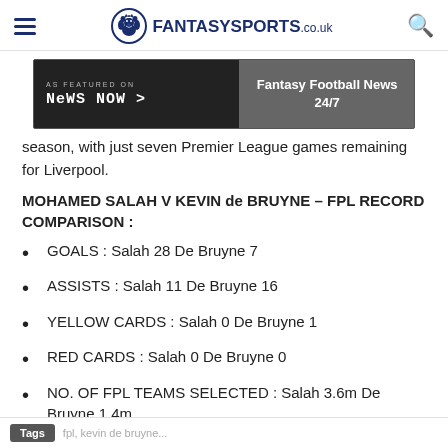FantasySports.co.uk
[Figure (screenshot): News Now advertisement banner – 'As Featured On News Now' with 'Fantasy Football News 24/7']
season, with just seven Premier League games remaining for Liverpool.
MOHAMED SALAH V KEVIN de BRUYNE – FPL RECORD COMPARISON :
GOALS : Salah 28 De Bruyne 7
ASSISTS : Salah 11 De Bruyne 16
YELLOW CARDS : Salah 0 De Bruyne 1
RED CARDS : Salah 0 De Bruyne 0
NO. OF FPL TEAMS SELECTED : Salah 3.6m De Bruyne 1.4m